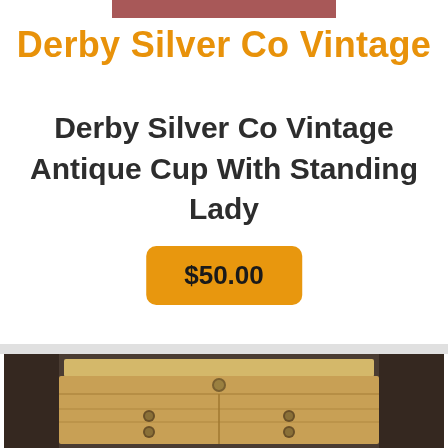[Figure (photo): Partial view of a reddish-brown product image at the top of the page]
Derby Silver Co Vintage
Derby Silver Co Vintage Antique Cup With Standing Lady
$50.00
[Figure (photo): Photo of a vintage wooden dresser/chest of drawers with brass knobs, yellow top, shown from a slight angle]